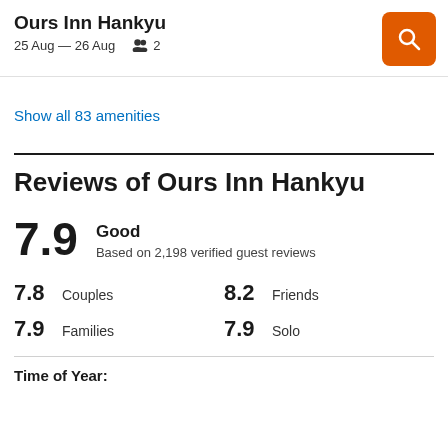Ours Inn Hankyu
25 Aug — 26 Aug  2
Show all 83 amenities
Reviews of Ours Inn Hankyu
7.9  Good
Based on 2,198 verified guest reviews
7.8  Couples
7.9  Families
8.2  Friends
7.9  Solo
Time of Year: